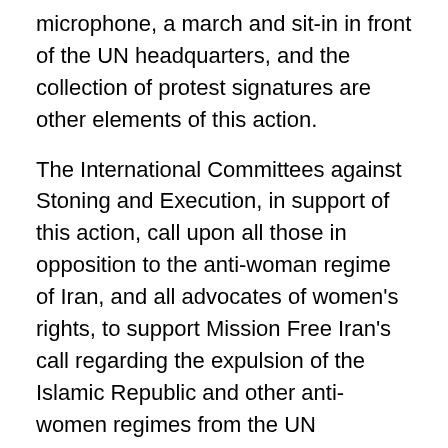microphone, a march and sit-in in front of the UN headquarters, and the collection of protest signatures are other elements of this action.
The International Committees against Stoning and Execution, in support of this action, call upon all those in opposition to the anti-woman regime of Iran, and all advocates of women's rights, to support Mission Free Iran's call regarding the expulsion of the Islamic Republic and other anti-women regimes from the UN Commission on the Status of Women and UN Women, and demand expulsion of the Islamic Republic from all international institutions.
23 November 2010
International Committee against Stoning
(http://stopstonningnow.com)